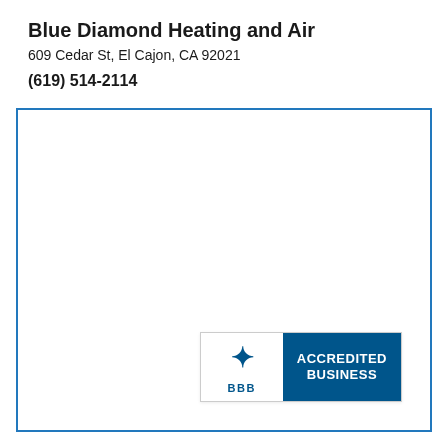Blue Diamond Heating and Air
609 Cedar St, El Cajon, CA 92021
(619) 514-2114
[Figure (logo): BBB Accredited Business badge with the BBB torch logo on the left and 'ACCREDITED BUSINESS' text on a dark blue background on the right]